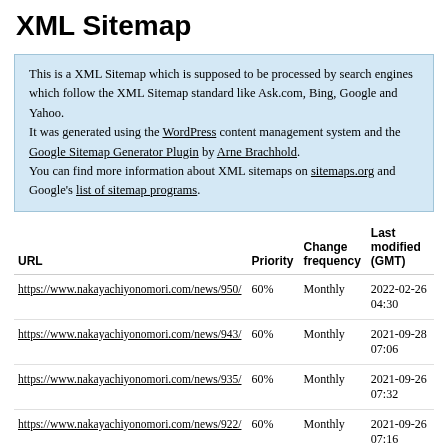XML Sitemap
This is a XML Sitemap which is supposed to be processed by search engines which follow the XML Sitemap standard like Ask.com, Bing, Google and Yahoo. It was generated using the WordPress content management system and the Google Sitemap Generator Plugin by Arne Brachhold. You can find more information about XML sitemaps on sitemaps.org and Google's list of sitemap programs.
| URL | Priority | Change frequency | Last modified (GMT) |
| --- | --- | --- | --- |
| https://www.nakayachiyonomori.com/news/950/ | 60% | Monthly | 2022-02-26 04:30 |
| https://www.nakayachiyonomori.com/news/943/ | 60% | Monthly | 2021-09-28 07:06 |
| https://www.nakayachiyonomori.com/news/935/ | 60% | Monthly | 2021-09-26 07:32 |
| https://www.nakayachiyonomori.com/news/922/ | 60% | Monthly | 2021-09-26 07:16 |
| https://www.nakayachiyonomori.com/news/912/ | 60% | Monthly | 2021-09-25 06:36 |